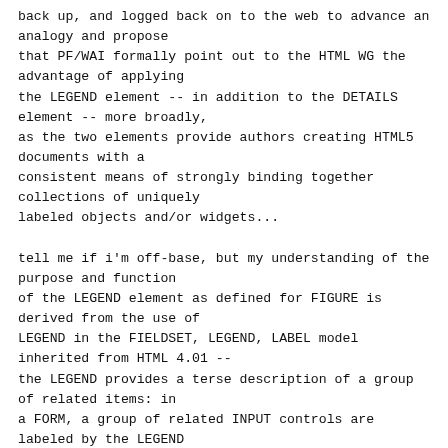back up, and logged back on to the web to advance an analogy and propose
that PF/WAI formally point out to the HTML WG the advantage of applying
the LEGEND element -- in addition to the DETAILS element -- more broadly,
as the two elements provide authors creating HTML5 documents with a
consistent means of strongly binding together collections of uniquely
labeled objects and/or widgets...

tell me if i'm off-base, but my understanding of the purpose and function
of the LEGEND element as defined for FIGURE is derived from the use of
LEGEND in the FIELDSET, LEGEND, LABEL model inherited from HTML 4.01 --
the LEGEND provides a terse description of a group of related items: in
a FORM, a group of related INPUT controls are labeled by the LEGEND
defined for the FIELDSET, while each individual INPUT control is bound to
its LABEL with a for/id relationship, just as each IMG in a FIGURE which
contains multiple images (as in GreggV's "3 Stages of a Butterfly's Life"
example) needs to be bound to a unique terse